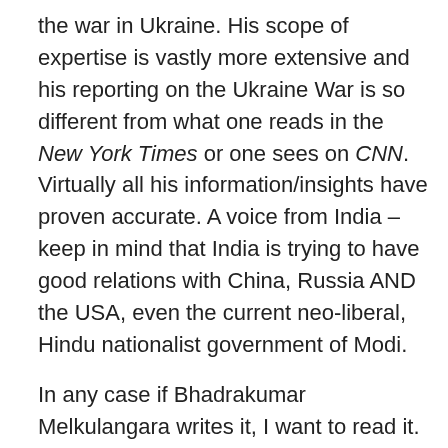the war in Ukraine. His scope of expertise is vastly more extensive and his reporting on the Ukraine War is so different from what one reads in the New York Times or one sees on CNN. Virtually all his information/insights have proven accurate. A voice from India – keep in mind that India is trying to have good relations with China, Russia AND the USA, even the current neo-liberal, Hindu nationalist government of Modi.
In any case if Bhadrakumar Melkulangara writes it, I want to read it. Below parts of his bio on Indian Punch
“I was a career diplomat by profession. For someone growing up in the 1960s in a remote town at the southern tip of India, diplomacy was an improbable profession. My passion was for the world of literature, writing and politics – roughly in that order. While doing doctoral research on